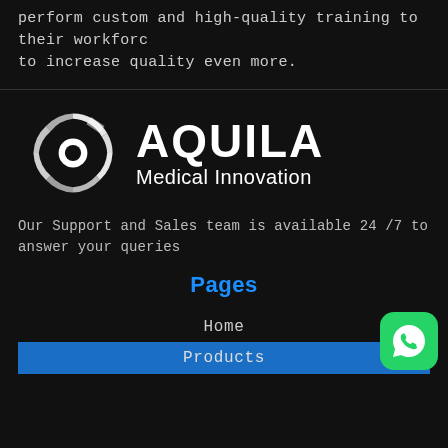perform custom and high-quality training to their workforce to increase quality even more.
[Figure (logo): Aquila Medical Innovation logo — circular gear/eye icon in white on dark background, with bold white AQUILA text and Medical Innovation subtitle]
Our Support and Sales team is available 24 /7 to answer your queries
Pages
Home
Products